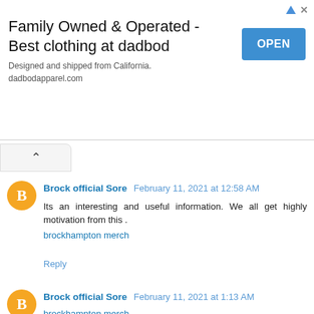[Figure (other): Advertisement banner: 'Family Owned & Operated - Best clothing at dadbod'. Text: 'Designed and shipped from California. dadbodapparel.com'. Blue OPEN button on the right.]
Brock official Sore  February 11, 2021 at 12:58 AM
Its an interesting and useful information. We all get highly motivation from this .
brockhampton merch
Reply
Brock official Sore  February 11, 2021 at 1:13 AM
brockhampton merch
brockhampton store
brockhampton store
brockhampton hoodie
brockhampton hoodie
brockhampton merch
brockhampton merch